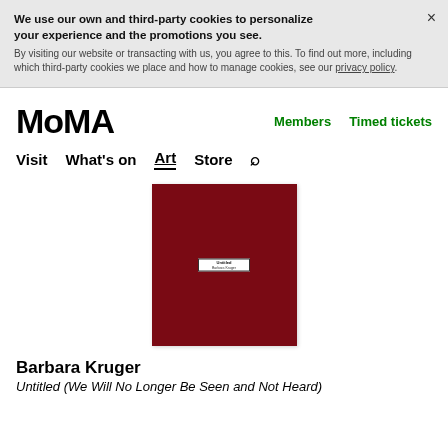We use our own and third-party cookies to personalize your experience and the promotions you see. By visiting our website or transacting with us, you agree to this. To find out more, including which third-party cookies we place and how to manage cookies, see our privacy policy.
MoMA
Members   Timed tickets
Visit   What's on   Art   Store   🔍
[Figure (photo): A dark red/maroon square artwork with a small white label in the center reading 'Untitled' and 'Barbara Kruger']
Barbara Kruger
Untitled (We Will No Longer Be Seen and Not Heard)